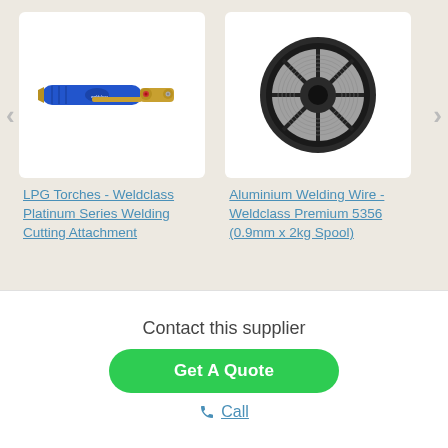[Figure (photo): LPG welding torch with blue handle and brass fittings]
LPG Torches - Weldclass Platinum Series Welding Cutting Attachment
[Figure (photo): Grey aluminium welding wire spool on black plastic reel]
Aluminium Welding Wire - Weldclass Premium 5356 (0.9mm x 2kg Spool)
Contact this supplier
Get A Quote
Call